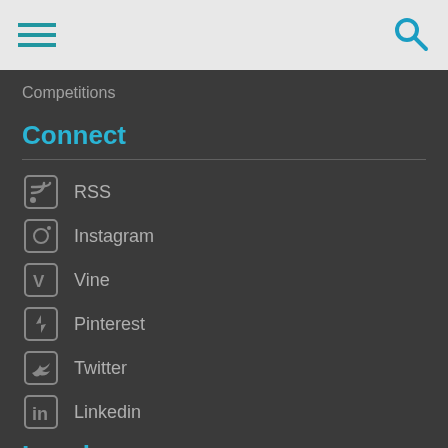Navigation header with hamburger menu and search icon
Competitions
Connect
RSS
Instagram
Vine
Pinterest
Twitter
Linkedin
Legal